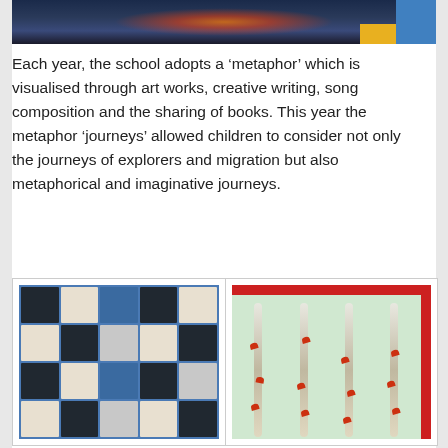[Figure (photo): Top portion of a colorful artwork/display with dark background, orange/red glowing design and yellow/blue elements at the bottom right]
Each year, the school adopts a ‘metaphor’ which is visualised through art works, creative writing, song composition and the sharing of books. This year the metaphor ‘journeys’ allowed children to consider not only the journeys of explorers and migration but also metaphorical and imaginative journeys.
[Figure (photo): Left photo: A display board with a blue background featuring a grid of bird artworks and sketches, primarily showing herons and other birds in various artistic styles]
[Figure (photo): Right photo: A display with red border at top and right, showing birch trees with red butterflies and the text 'find joy in the journey' written in cursive]